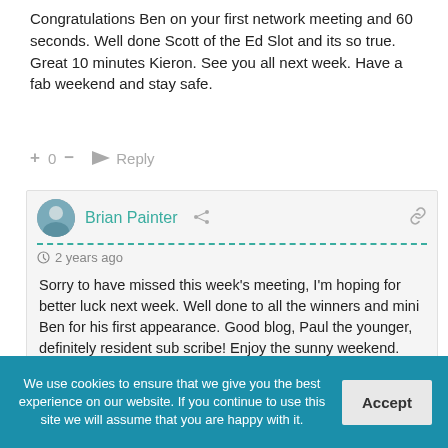Congratulations Ben on your first network meeting and 60 seconds. Well done Scott of the Ed Slot and its so true. Great 10 minutes Kieron. See you all next week. Have a fab weekend and stay safe.
+ 0 — → Reply
Brian Painter
2 years ago
Sorry to have missed this week's meeting, I'm hoping for better luck next week. Well done to all the winners and mini Ben for his first appearance. Good blog, Paul the younger, definitely resident sub scribe! Enjoy the sunny weekend.
+ 0 — → Reply
We use cookies to ensure that we give you the best experience on our website. If you continue to use this site we will assume that you are happy with it. Accept